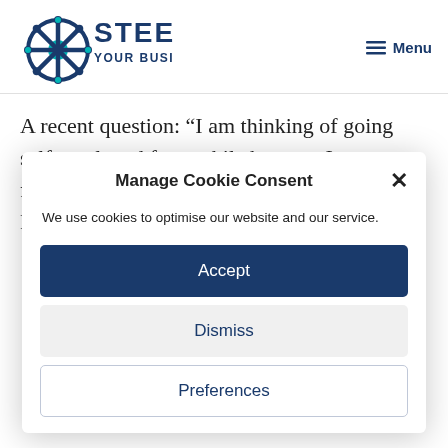[Figure (logo): Steer Your Business logo with ship wheel icon and text]
A recent question: “I am thinking of going self employed for a while because I cannot find new employment, can I take out Professional Indemnity
Manage Cookie Consent
We use cookies to optimise our website and our service.
Accept
Dismiss
Preferences